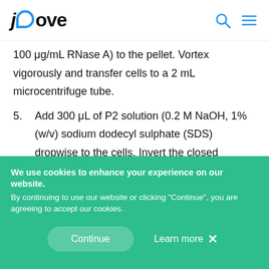JoVe
100 μg/mL RNase A) to the pellet. Vortex vigorously and transfer cells to a 2 mL microcentrifuge tube.
5. Add 300 μL of P2 solution (0.2 M NaOH, 1% (w/v) sodium dodecyl sulphate (SDS) dropwise to the cells. Invert the closed microcentrifuge tube 5 times and leave at room temperature for a maximum of 5 min.
CAUTION: Sodium hydroxide is corrosive
We use cookies to enhance your experience on our website.
By continuing to use our website or clicking "Continue", you are agreeing to accept our cookies.